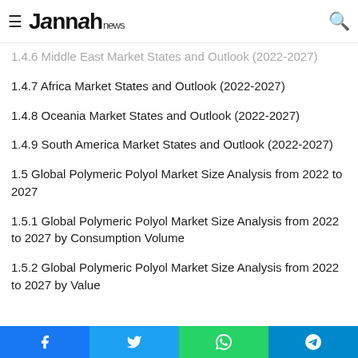Jannah news
1.4.6 Middle East Market States and Outlook (2022-2027)
1.4.7 Africa Market States and Outlook (2022-2027)
1.4.8 Oceania Market States and Outlook (2022-2027)
1.4.9 South America Market States and Outlook (2022-2027)
1.5 Global Polymeric Polyol Market Size Analysis from 2022 to 2027
1.5.1 Global Polymeric Polyol Market Size Analysis from 2022 to 2027 by Consumption Volume
1.5.2 Global Polymeric Polyol Market Size Analysis from 2022 to 2027 by Value
Share bar: Facebook, Twitter, WhatsApp, Telegram